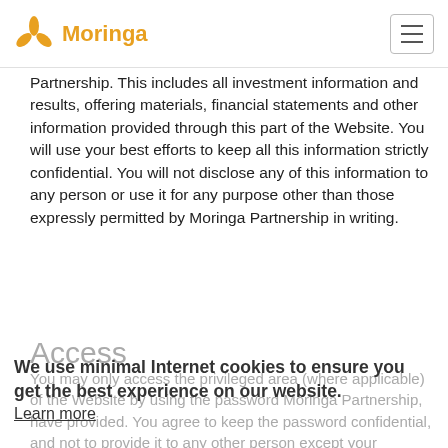Moringa
Partnership. This includes all investment information and results, offering materials, financial statements and other information provided through this part of the Website. You will use your best efforts to keep all this information strictly confidential. You will not disclose any of this information to any person or use it for any purpose other than those expressly permitted by Moringa Partnership in writing.
Access
You may only access the privileged area (where applicable) of the Website by using the password Moringa Partnership, have provided. You agree to keep the password confidential, and not to provide it to any other person except your employees, counsel and other professional advisors who have a need to access the information to advise you regarding Moringa Partnership. You will
We use minimal Internet cookies to ensure you get the best experience on our website. Learn more
Got it